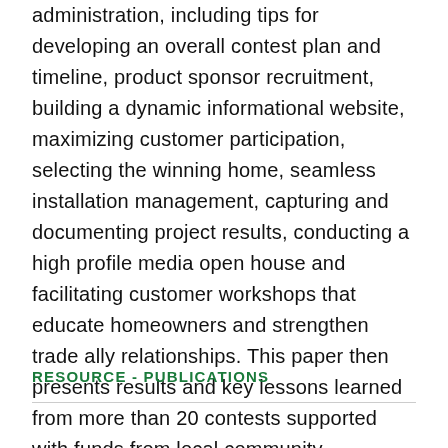administration, including tips for developing an overall contest plan and timeline, product sponsor recruitment, building a dynamic informational website, maximizing customer participation, selecting the winning home, seamless installation management, capturing and documenting project results, conducting a high profile media open house and facilitating customer workshops that educate homeowners and strengthen trade ally relationships. This paper then presents results and key lessons learned from more than 20 contests supported with funds from local community sustainability programs, utility energy efficiency programs, and U.S. Recovery and Reinvestment Act funds between 2008 and 2012.
RESOURCE - PUBLICATIONS